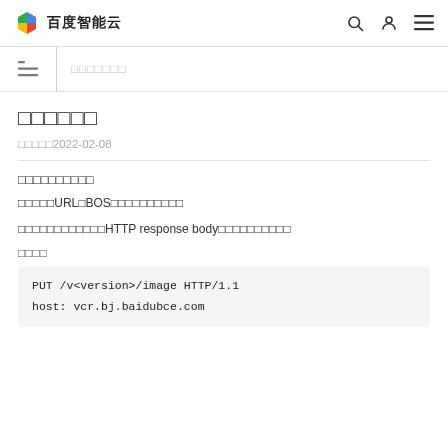百度智能云
□□□□□□□
□□□□□□
□□□□□2022-02-08
□□□□□□□□□□
□□□□□URL□BOS□□□□□□□□□□
□□□□□□□□□□□□HTTP response body□□□□□□□□□□
□□□□
[Figure (screenshot): Code block showing HTTP request: PUT /v<version>/image HTTP/1.1 and host: vcr.bj.baidubce.com]